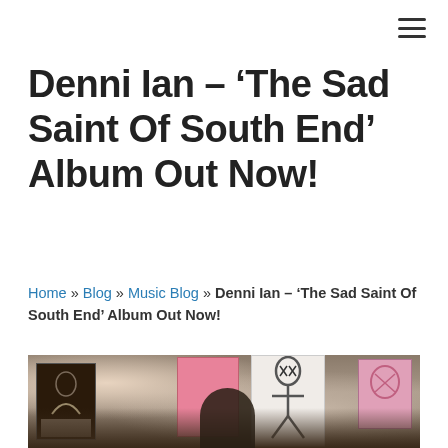≡ (navigation menu icon)
Denni Ian – ‘The Sad Saint Of South End’ Album Out Now!
Home » Blog » Music Blog » Denni Ian – ‘The Sad Saint Of South End’ Album Out Now!
[Figure (photo): Photo of a person standing in front of a wall covered with various artworks and paintings, including sketchy abstract figures on white and pink canvases.]